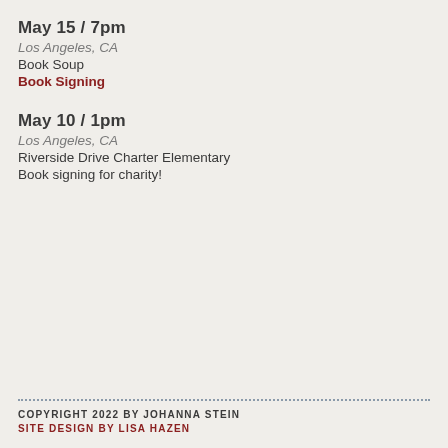May 15 / 7pm
Los Angeles, CA
Book Soup
Book Signing
May 10 / 1pm
Los Angeles, CA
Riverside Drive Charter Elementary
Book signing for charity!
COPYRIGHT 2022 BY JOHANNA STEIN
SITE DESIGN BY LISA HAZEN